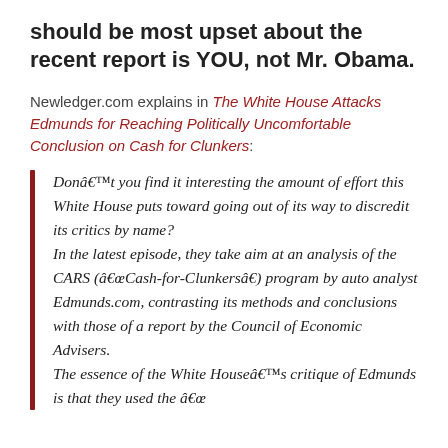should be most upset about the recent report is YOU, not Mr. Obama.
Newledger.com explains in The White House Attacks Edmunds for Reaching Politically Uncomfortable Conclusion on Cash for Clunkers:
Donâ€™t you find it interesting the amount of effort this White House puts toward going out of its way to discredit its critics by name? In the latest episode, they take aim at an analysis of the CARS (â€œCash-for-Clunkersâ€�) program by auto analyst Edmunds.com, contrasting its methods and conclusions with those of a report by the Council of Economic Advisers. The essence of the White Houseâ€™s critique of Edmunds is that they used the â€œ